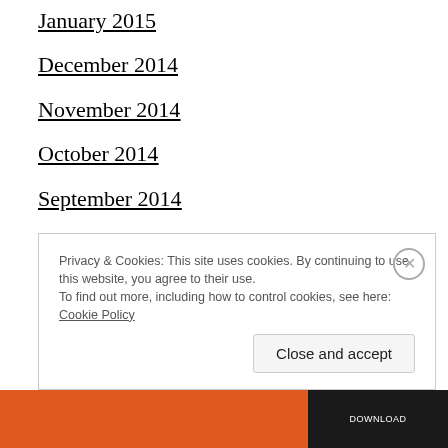January 2015
December 2014
November 2014
October 2014
September 2014
August 2014
June 2014
September 2013
Privacy & Cookies: This site uses cookies. By continuing to use this website, you agree to their use.
To find out more, including how to control cookies, see here: Cookie Policy
Close and accept